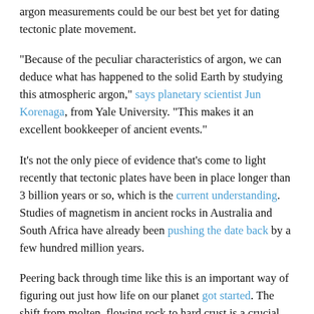argon measurements could be our best bet yet for dating tectonic plate movement.
"Because of the peculiar characteristics of argon, we can deduce what has happened to the solid Earth by studying this atmospheric argon," says planetary scientist Jun Korenaga, from Yale University. "This makes it an excellent bookkeeper of ancient events."
It's not the only piece of evidence that's come to light recently that tectonic plates have been in place longer than 3 billion years or so, which is the current understanding. Studies of magnetism in ancient rocks in Australia and South Africa have already been pushing the date back by a few hundred million years.
Peering back through time like this is an important way of figuring out just how life on our planet got started. The shift from molten, flowing rock to hard crust is a crucial one not just for the study of the early Earth but for early lifeforms too.
As the researchers behind the latest study note, we still don't have a definitive answer as to when this shift to tectonic plates